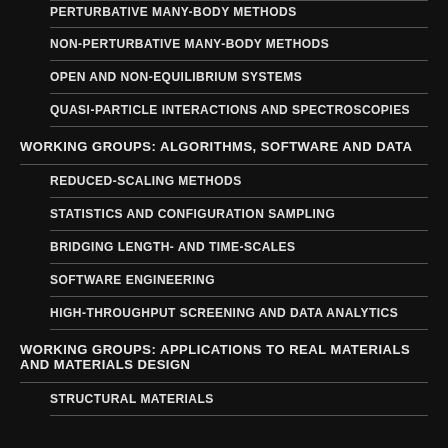PERTURBATIVE MANY-BODY METHODS
NON-PERTURBATIVE MANY-BODY METHODS
OPEN AND NON-EQUILIBRIUM SYSTEMS
QUASI-PARTICLE INTERACTIONS AND SPECTROSCOPIES
WORKING GROUPS: ALGORITHMS, SOFTWARE AND DATA
REDUCED-SCALING METHODS
STATISTICS AND CONFIGURATION SAMPLING
BRIDGING LENGTH- AND TIME-SCALES
SOFTWARE ENGINEERING
HIGH-THROUGHPUT SCREENING AND DATA ANALYTICS
WORKING GROUPS: APPLICATIONS TO REAL MATERIALS AND MATERIALS DESIGN
STRUCTURAL MATERIALS